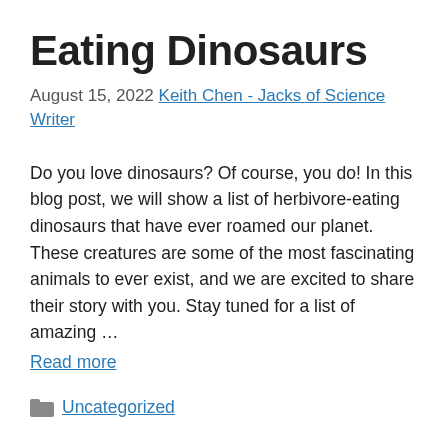Eating Dinosaurs
August 15, 2022 Keith Chen - Jacks of Science Writer
Do you love dinosaurs? Of course, you do! In this blog post, we will show a list of herbivore-eating dinosaurs that have ever roamed our planet. These creatures are some of the most fascinating animals to ever exist, and we are excited to share their story with you. Stay tuned for a list of amazing … Read more
Uncategorized